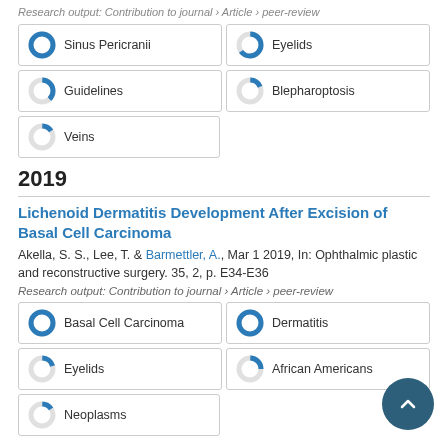Research output: Contribution to journal › Article › peer-review
[Figure (infographic): Five keyword badges with donut chart icons: Sinus Pericranii (100%), Eyelids (65%), Guidelines (38%), Blepharoptosis (18%), Veins (15%)]
2019
Lichenoid Dermatitis Development After Excision of Basal Cell Carcinoma
Akella, S. S., Lee, T. & Barmettler, A., Mar 1 2019, In: Ophthalmic plastic and reconstructive surgery. 35, 2, p. E34-E36
Research output: Contribution to journal › Article › peer-review
[Figure (infographic): Five keyword badges with donut chart icons: Basal Cell Carcinoma (100%), Dermatitis (100%), Eyelids (20%), African Americans (25%), Neoplasms (15%)]